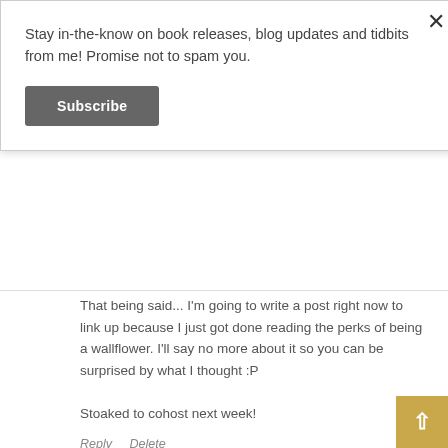Stay in-the-know on book releases, blog updates and tidbits from me! Promise not to spam you.
Subscribe
That being said... I'm going to write a post right now to link up because I just got done reading the perks of being a wallflower. I'll say no more about it so you can be surprised by what I thought :P

Stoaked to cohost next week!
Reply   Delete
Katie Price · January 25, 2013 at 3:32 PM
The Ender's Game series is still one of my all-time favorites. I wonder if it's harder to get into though AFTER reading Hunger Games, Maze Runner, e because it IS a slower pace novel?